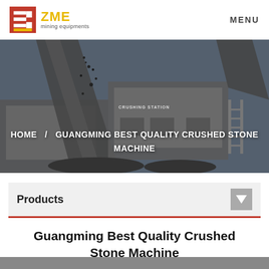ZME mining equipments  MENU
[Figure (photo): Industrial stone crushing machine equipment operating outdoors, with conveyor belts and crushed stone/rock aggregate visible. Text 'CRUSHING STATION' visible on equipment. Navigation breadcrumb overlay reads: HOME / GUANGMING BEST QUALITY CRUSHED STONE MACHINE]
Products
Guangming Best Quality Crushed Stone Machine